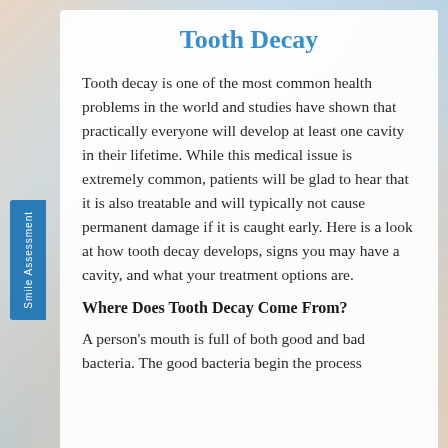Tooth Decay
Tooth decay is one of the most common health problems in the world and studies have shown that practically everyone will develop at least one cavity in their lifetime. While this medical issue is extremely common, patients will be glad to hear that it is also treatable and will typically not cause permanent damage if it is caught early. Here is a look at how tooth decay develops, signs you may have a cavity, and what your treatment options are.
Where Does Tooth Decay Come From?
A person's mouth is full of both good and bad bacteria. The good bacteria begin the process